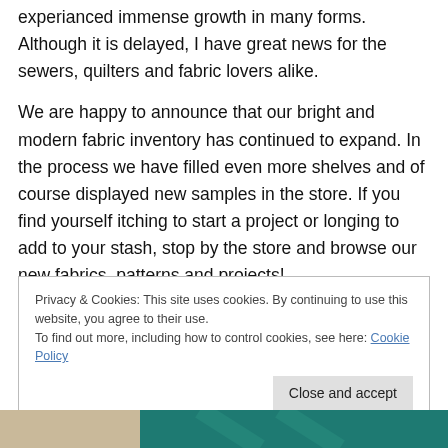experianced immense growth in many forms. Although it is delayed, I have great news for the sewers, quilters and fabric lovers alike.
We are happy to announce that our bright and modern fabric inventory has continued to expand. In the process we have filled even more shelves and of course displayed new samples in the store. If you find yourself itching to start a project or longing to add to your stash, stop by the store and browse our new fabrics, patterns and projects!
Privacy & Cookies: This site uses cookies. By continuing to use this website, you agree to their use.
To find out more, including how to control cookies, see here: Cookie Policy
[Figure (photo): Bottom edge of a photograph showing fabric/quilt materials in beige and teal colors]